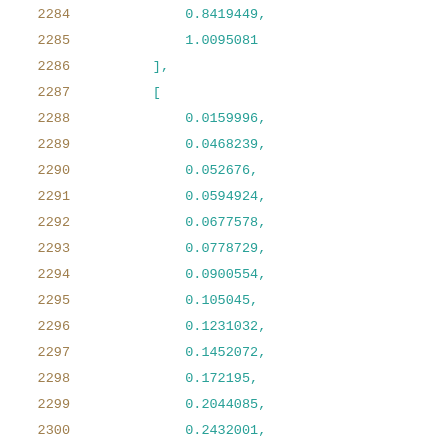2284    0.8419449,
2285    1.0095081
2286    ],
2287    [
2288    0.0159996,
2289    0.0468239,
2290    0.052676,
2291    0.0594924,
2292    0.0677578,
2293    0.0778729,
2294    0.0900554,
2295    0.105045,
2296    0.1231032,
2297    0.1452072,
2298    0.172195,
2299    0.2044085,
2300    0.2432001,
2301    0.2893386,
2302    0.3460282,
2303    0.4113687,
2304    0.4910619,